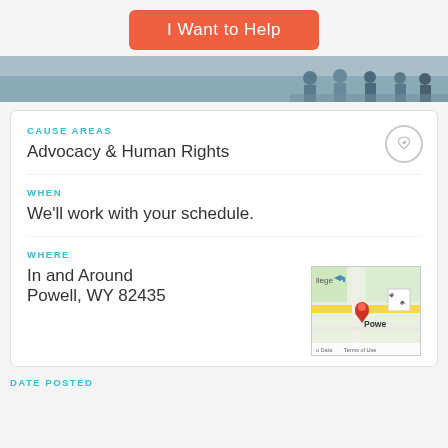I Want to Help
[Figure (photo): Banner photo showing people in an office or public space setting]
CAUSE AREAS
Advocacy & Human Rights
WHEN
We'll work with your schedule.
WHERE
In and Around
Powell, WY 82435
[Figure (map): Google map thumbnail showing Powell, WY area with a red pin marker]
DATE POSTED